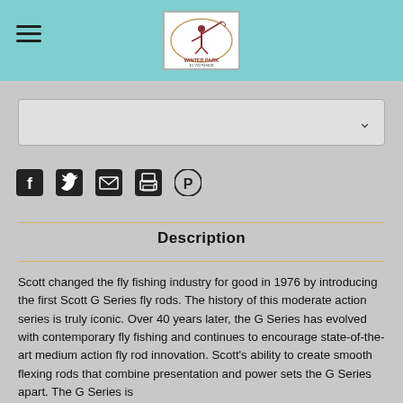Winter Park Flyfisher logo header with hamburger menu
[Figure (other): Dropdown select box with chevron arrow]
[Figure (other): Social media sharing icons: Facebook, Twitter, Email, Print, Pinterest]
Description
Scott changed the fly fishing industry for good in 1976 by introducing the first Scott G Series fly rods. The history of this moderate action series is truly iconic. Over 40 years later, the G Series has evolved with contemporary fly fishing and continues to encourage state-of-the-art medium action fly rod innovation. Scott's ability to create smooth flexing rods that combine presentation and power sets the G Series apart. The G Series is